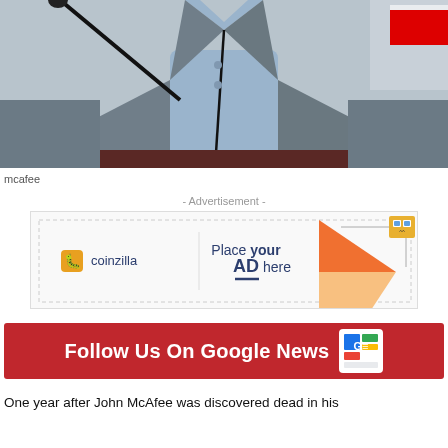[Figure (photo): Person in grey suit jacket and light blue shirt standing at a podium with a microphone, cropped to show torso only, background partially red/white signs visible]
mcafee
- Advertisement -
[Figure (other): Coinzilla advertisement banner with logo, 'Place your AD here' text, and orange triangle graphic with cartoon character]
[Figure (other): Follow Us On Google News banner in red with Google News icon]
One year after John McAfee was discovered dead in his